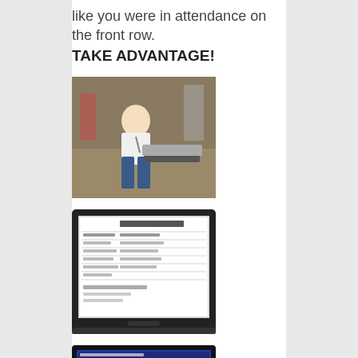like you were in attendance on the front row. TAKE ADVANTAGE!
[Figure (photo): A person crouching near a table with a keyboard/laptop at what appears to be an event or convention floor.]
[Figure (screenshot): A TV or monitor screen displaying what appears to be a 'Sunday Schedule' document or web page.]
[Figure (screenshot): A TV or monitor screen displaying a blue interface with a list of items, possibly a blog or content listing.]